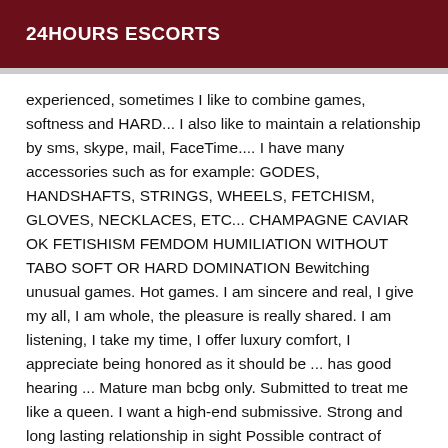24HOURS ESCORTS
experienced, sometimes I like to combine games, softness and HARD... I also like to maintain a relationship by sms, skype, mail, FaceTime.... I have many accessories such as for example: GODES, HANDSHAFTS, STRINGS, WHEELS, FETCHISM, GLOVES, NECKLACES, ETC... CHAMPAGNE CAVIAR OK FETISHISM FEMDOM HUMILIATION WITHOUT TABO SOFT OR HARD DOMINATION Bewitching unusual games. Hot games. I am sincere and real, I give my all, I am whole, the pleasure is really shared. I am listening, I take my time, I offer luxury comfort, I appreciate being honored as it should be ... has good hearing ... Mature man bcbg only. Submitted to treat me like a queen. I want a high-end submissive. Strong and long lasting relationship in sight Possible contract of membership Possibility of travel throughout the United States and abroad. Whimsical doll, who has everything she wants, I want even more... I'm infernal because I'm